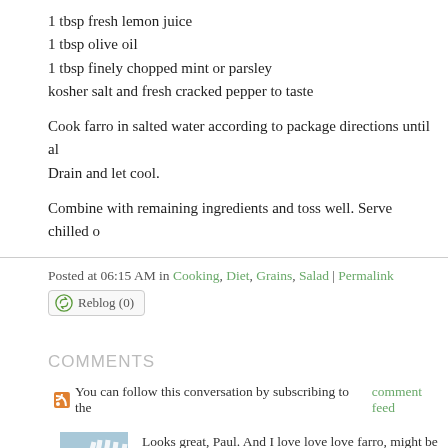1 tbsp fresh lemon juice
1 tbsp olive oil
1 tbsp finely chopped mint or parsley
kosher salt and fresh cracked pepper to taste
Cook farro in salted water according to package directions until al dente. Drain and let cool.
Combine with remaining ingredients and toss well. Serve chilled or at room temperature.
Posted at 06:15 AM in Cooking, Diet, Grains, Salad | Permalink
Reblog (0)
COMMENTS
You can follow this conversation by subscribing to the comment feed.
Looks great, Paul. And I love love love farro, might be my favorite grain. I will give this one a try, a small version would be perfect for me for lunch.
Posted by: Kayte | August 01, 2015 at 12:25 PM